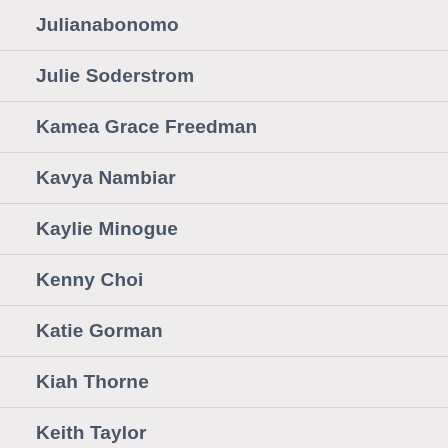Julianabonomo
Julie Soderstrom
Kamea Grace Freedman
Kavya Nambiar
Kaylie Minogue
Kenny Choi
Katie Gorman
Kiah Thorne
Keith Taylor